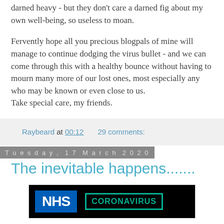darned heavy - but they don't care a darned fig about my own well-being, so useless to moan.
Fervently hope all you precious blogpals of mine will manage to continue dodging the virus bullet - and we can come through this with a healthy bounce without having to mourn many more of our lost ones, most especially any who may be known or even close to us.
Take special care, my friends.
Raybeard at 00:12    29 comments:
Tuesday, 17 March 2020
The inevitable happens.......
[Figure (photo): NHS Coronavirus logo image on black background showing NHS blue logo and green-outlined CORONAVIRUS text]